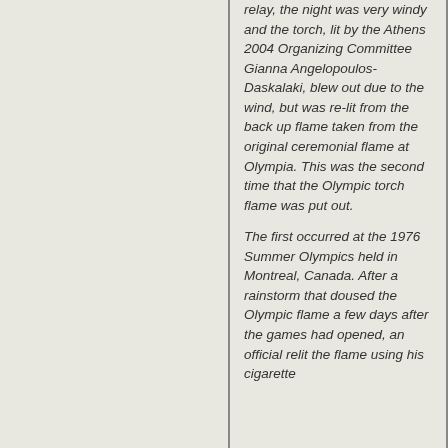relay, the night was very windy and the torch, lit by the Athens 2004 Organizing Committee Gianna Angelopoulos-Daskalaki, blew out due to the wind, but was re-lit from the back up flame taken from the original ceremonial flame at Olympia. This was the second time that the Olympic torch flame was put out.

The first occurred at the 1976 Summer Olympics held in Montreal, Canada. After a rainstorm that doused the Olympic flame a few days after the games had opened, an official relit the flame using his cigarette